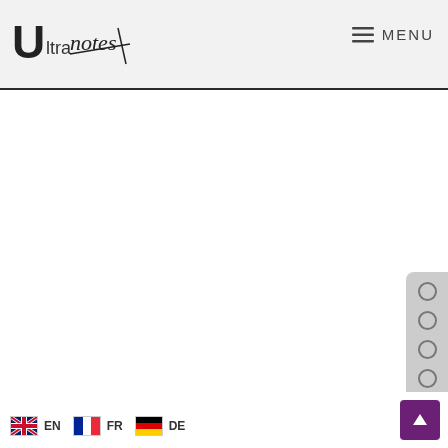Ultranotes — MENU navigation header
[Figure (logo): Ultranotes logo with stylized U and cursive 'notes' text with underline]
MENU
[Figure (other): Vertical navigation dots panel on right side, 7 circular dots]
EN FR DE language selector and back-to-top button